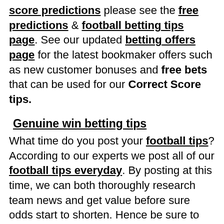score predictions please see the free predictions & football betting tips page. See our updated betting offers page for the latest bookmaker offers such as new customer bonuses and free bets that can be used for our Correct Score tips.
Genuine win betting tips
What time do you post your football tips? According to our experts we post all of our football tips everyday. By posting at this time, we can both thoroughly research team news and get value before sure odds start to shorten. Hence be sure to check the website at this time to get maximum enjoyment from our daily free tips.
How do your experts make soccer safe tips? Here at Xpredict.co, our expert tipsters analyse statistics, team news, form and a whole lot more before making their selections. However they use all the information available to them, going beyond basic